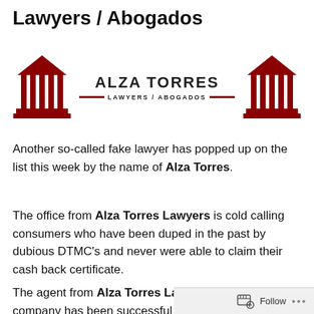Lawyers / Abogados
[Figure (logo): Alza Torres Lawyers / Abogados logo with two red courthouse/column icons flanking centered text 'ALZA TORRES' and subtitle 'LAWYERS / ABOGADOS' with decorative red lines]
Another so-called fake lawyer has popped up on the list this week by the name of Alza Torres.
The office from Alza Torres Lawyers is cold calling consumers who have been duped in the past by dubious DTMC's and never were able to claim their cash back certificate.
The agent from Alza Torres Lawyers claims their company has been successful in recovering this money on behalf of consumers, and they actually do this on a No win
Follow ...